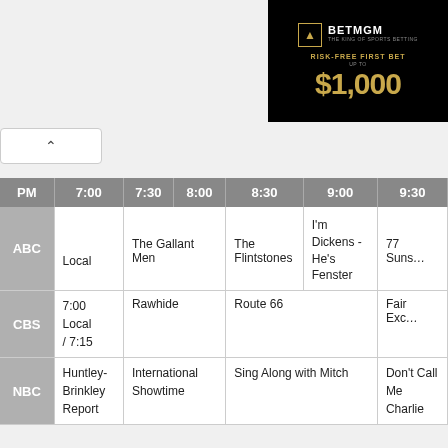[Figure (other): BetMGM advertisement banner with black background showing 'RISK-FREE FIRST BET UP TO $1,000' in gold text]
| PM | 7:00 | 7:30 | 8:00 | 8:30 | 9:00 | 9:30 |
| --- | --- | --- | --- | --- | --- | --- |
| ABC | Local | The Gallant Men |  | The Flintstones | I'm Dickens - He's Fenster | 77 Suns... |
| CBS | 7:00 Local / 7:15 | Rawhide |  | Route 66 |  | Fair Exc... |
| NBC | Huntley-Brinkley Report | International Showtime |  | Sing Along with Mitch |  | Don't Call Me Charlie |